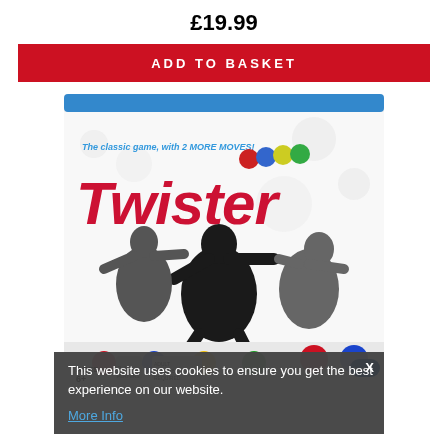£19.99
ADD TO BASKET
[Figure (photo): Twister board game box showing silhouettes of people playing on the coloured dot mat, with tagline 'The classic game, with 2 MORE MOVES!']
This website uses cookies to ensure you get the best experience on our website. More Info